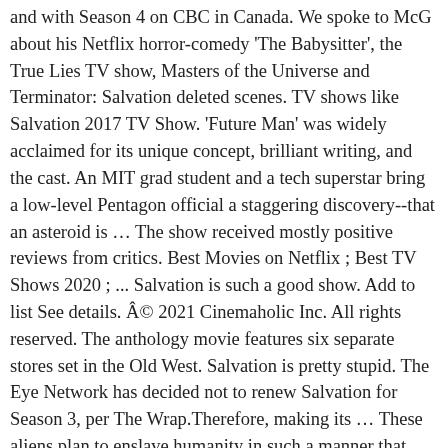and with Season 4 on CBC in Canada. We spoke to McG about his Netflix horror-comedy 'The Babysitter', the True Lies TV show, Masters of the Universe and Terminator: Salvation deleted scenes. TV shows like Salvation 2017 TV Show. 'Future Man' was widely acclaimed for its unique concept, brilliant writing, and the cast. An MIT grad student and a tech superstar bring a low-level Pentagon official a staggering discovery--that an asteroid is … The show received mostly positive reviews from critics. Best Movies on Netflix ; Best TV Shows 2020 ; ... Salvation is such a good show. Add to list See details. Â© 2021 Cinemaholic Inc. All rights reserved. The anthology movie features six separate stores set in the Old West. Salvation is pretty stupid. The Eye Network has decided not to renew Salvation for Season 3, per The Wrap.Therefore, making its … These aliens plan to enslave humanity in such a manner that they can use humans as the frontline of their army while battling another species. As you await season 3 to arrive on Netflix, here are other shows like 'You' that fans will love including 'Dexter,' 'Bates Motel,' 'Ratched' & 'Killing Eve' But the military personnel, also known as the Transitional Authority, do not serve any earthling. CBS, the channel